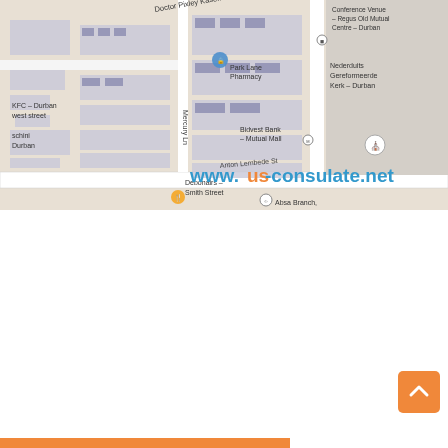[Figure (map): Google Maps screenshot showing area in Durban, South Africa. Visible landmarks include: Doctor Pixley Kaseme Street, Conference Venue – Regus Old Mutual Centre – Durban, Park Lane Pharmacy, KFC – Durban west street, Mercury Lane, Bidvest Bank – Mutual Mall, Nederduits Gereformeerde Kerk – Durban, Debonairs – Smith Street, Anton Lembede Street, Absa Branch. Watermark: www.us-consulate.net in blue text with orange 'us' portion.]